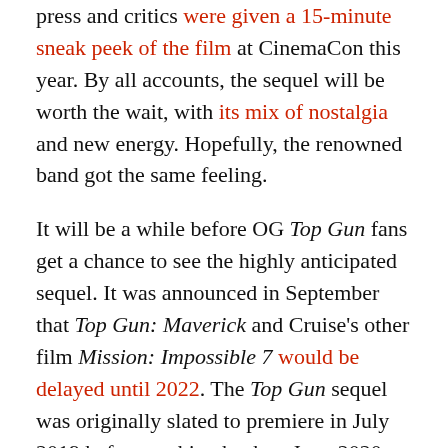press and critics were given a 15-minute sneak peek of the film at CinemaCon this year. By all accounts, the sequel will be worth the wait, with its mix of nostalgia and new energy. Hopefully, the renowned band got the same feeling.
It will be a while before OG Top Gun fans get a chance to see the highly anticipated sequel. It was announced in September that Top Gun: Maverick and Cruise's other film Mission: Impossible 7 would be delayed until 2022. The Top Gun sequel was originally slated to premiere in July 2019 before pushing back to June 2020, then July 23 and November 19 of this year. It was chalked up to continued movie theater closings due to the pandemic. Maverick took M:I 7s original May 7 release date while the Mission: Impossible: Fallout follow-up was pushed to Sept. 7, 2022. Hopefully, those dates will stick this time.